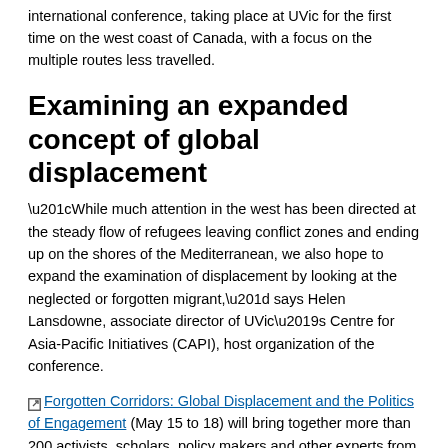international conference, taking place at UVic for the first time on the west coast of Canada, with a focus on the multiple routes less travelled.
Examining an expanded concept of global displacement
“While much attention in the west has been directed at the steady flow of refugees leaving conflict zones and ending up on the shores of the Mediterranean, we also hope to expand the examination of displacement by looking at the neglected or forgotten migrant,” says Helen Lansdowne, associate director of UVic’s Centre for Asia-Pacific Initiatives (CAPI), host organization of the conference.
Forgotten Corridors: Global Displacement and the Politics of Engagement (May 15 to 18) will bring together more than 200 activists, scholars, policy makers and other experts from all corners of the world to share knowledge, experiences and strategies as they relate to global displacement.
Lansdowne points out it is one example of many activities and initiatives that reflect the scope of UVic’s new International Plan launched last fall.
It is also one of four signature series events by UVic to mark Canada’s 150th anniversary.
Internally displaced persons and artistic practice